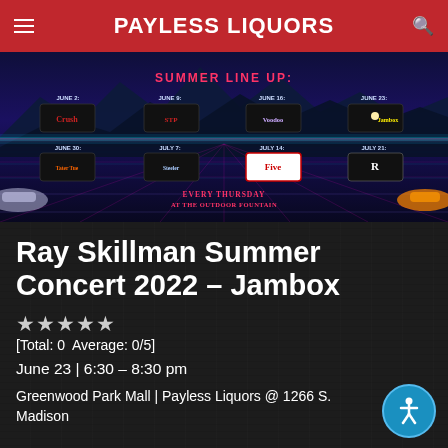PAYLESS LIQUORS
[Figure (infographic): Ray Skillman Summer Concert 2022 Summer Line Up event schedule showing concerts on June 2 (Crush), June 9 (STP), June 16 (Voodoo), June 23 (Jambox), June 30, July 7, July 14 (Five), July 21 – Every Thursday at the Outdoor Fountain, with cars displayed around the event poster]
Ray Skillman Summer Concert 2022 – Jambox
[Total: 0  Average: 0/5]
June 23 | 6:30 – 8:30 pm
Greenwood Park Mall | Payless Liquors @ 1266 S. Madison